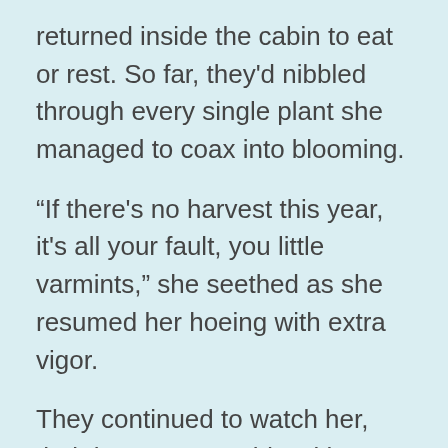returned inside the cabin to eat or rest. So far, they'd nibbled through every single plant she managed to coax into blooming.
“If there's no harvest this year, it's all your fault, you little varmints,” she seethed as she resumed her hoeing with extra vigor.
They continued to watch her, their brown eyes wide with curiosity. It was almost as if they were trying to gauge when she would take her next break.
“Go on and get out of here,” she ordered, lifting her hoe and